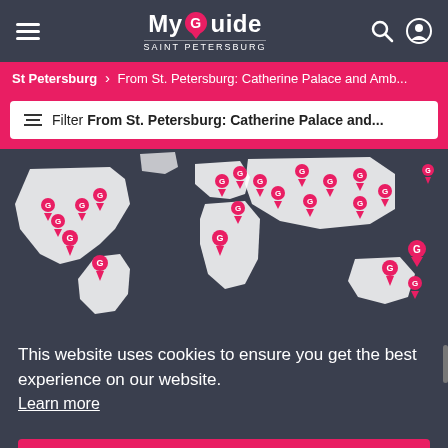MyGuide SAINT PETERSBURG
St Petersburg > From St. Petersburg: Catherine Palace and Amb...
Filter From St. Petersburg: Catherine Palace and...
[Figure (map): World map with pink location markers (G icons) on dark background showing various MyGuide city locations]
This website uses cookies to ensure you get the best experience on our website. Learn more
Got it!